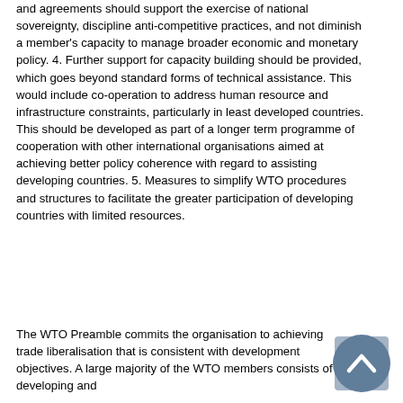and agreements should support the exercise of national sovereignty, discipline anti-competitive practices, and not diminish a member's capacity to manage broader economic and monetary policy. 4. Further support for capacity building should be provided, which goes beyond standard forms of technical assistance. This would include co-operation to address human resource and infrastructure constraints, particularly in least developed countries. This should be developed as part of a longer term programme of cooperation with other international organisations aimed at achieving better policy coherence with regard to assisting developing countries. 5. Measures to simplify WTO procedures and structures to facilitate the greater participation of developing countries with limited resources.
The WTO Preamble commits the organisation to achieving trade liberalisation that is consistent with development objectives. A large majority of the WTO members consists of developing and